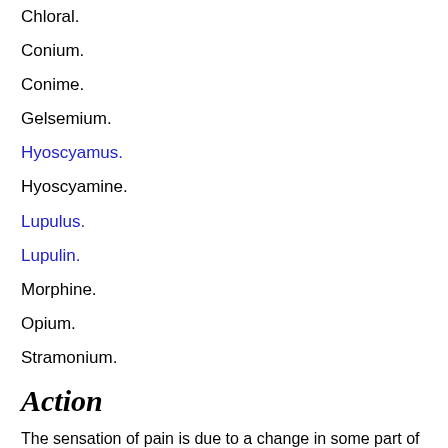Chloral.
Conium.
Conime.
Gelsemium.
Hyoscyamus.
Hyoscyamine.
Lupulus.
Lupulin.
Morphine.
Opium.
Stramonium.
Action
The sensation of pain is due to a change in some part of the cerebrum, and is usually excited by injury to some part of the body.